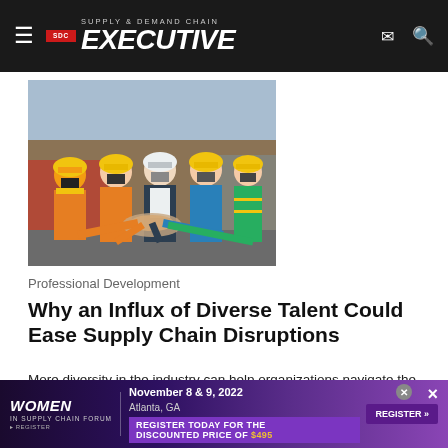SDC SUPPLY & DEMAND CHAIN EXECUTIVE
[Figure (photo): Four workers wearing yellow hard hats and face masks bump fists/hands together in a team gesture, in an industrial/warehouse setting]
Professional Development
Why an Influx of Diverse Talent Could Ease Supply Chain Disruptions
More diversity in the industry can help organizations navigate the continuous wave of new challenges. I believe the supply chain industry needs a fresh influx of talent, and leaders should cast...
Oracle
August 15, 2022
[Figure (infographic): Advertisement banner for Women in Supply Chain Forum, November 8 & 9, 2022, Atlanta, GA. Register today for the discounted price of $495. Register button shown.]